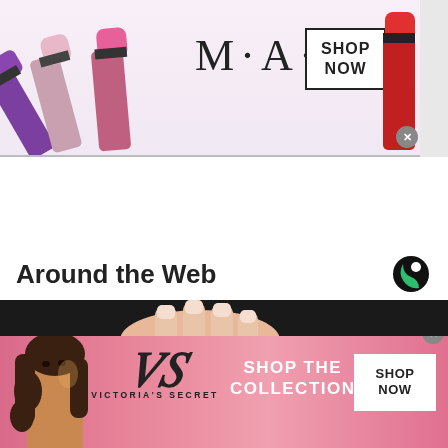[Figure (photo): MAC Cosmetics advertisement banner showing colorful lipsticks on left side (purple, pink, hot pink), MAC logo text in center, SHOP NOW button in bordered box, and a red lipstick on right side. Close button in bottom right corner.]
Around the Web
[Figure (photo): Close-up photo of a hand/fingers against a dark background, partially visible content image.]
[Figure (photo): Victoria's Secret advertisement banner with pink gradient background, model on left, VS cursive logo and VICTORIA'S SECRET text, SHOP THE COLLECTION text, and SHOP NOW white button. Close button visible.]